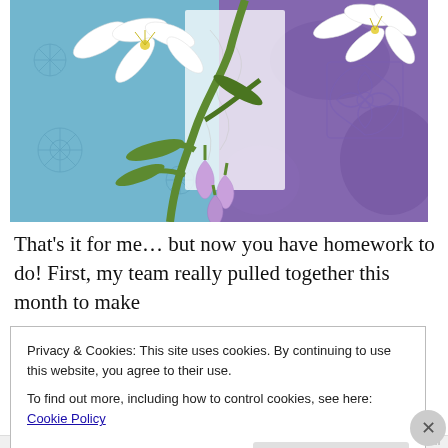[Figure (illustration): Floral illustration split into two halves: left half has a blue/teal textured background with white lily flowers and green stems; right half has a purple/violet textured background with the same white lily and green stems, plus lavender bell-shaped flowers. A white decorative panel in the center background and a purple mandala-style ornament on the right.]
That's it for me… but now you have homework to do! First, my team really pulled together this month to make
Privacy & Cookies: This site uses cookies. By continuing to use this website, you agree to their use.
To find out more, including how to control cookies, see here: Cookie Policy
Close and accept